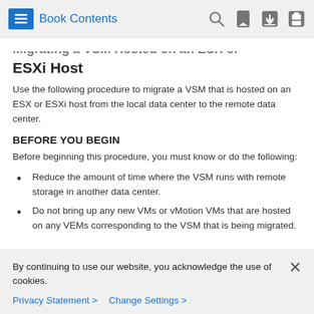Book Contents
Migrating a VSM Hosted on an ESX or ESXi Host
Use the following procedure to migrate a VSM that is hosted on an ESX or ESXi host from the local data center to the remote data center.
BEFORE YOU BEGIN
Before beginning this procedure, you must know or do the following:
Reduce the amount of time where the VSM runs with remote storage in another data center.
Do not bring up any new VMs or vMotion VMs that are hosted on any VEMs corresponding to the VSM that is being migrated.
By continuing to use our website, you acknowledge the use of cookies.
Privacy Statement > Change Settings >